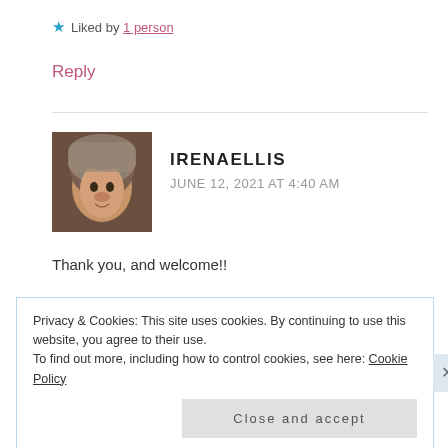★ Liked by 1 person
Reply
IRENAELLIS
JUNE 12, 2021 AT 4:40 AM
[Figure (photo): Avatar photo of user IrenaEllis, a woman wearing a knit hat]
Thank you, and welcome!!
★ Liked by 1 person
Privacy & Cookies: This site uses cookies. By continuing to use this website, you agree to their use.
To find out more, including how to control cookies, see here: Cookie Policy
Close and accept